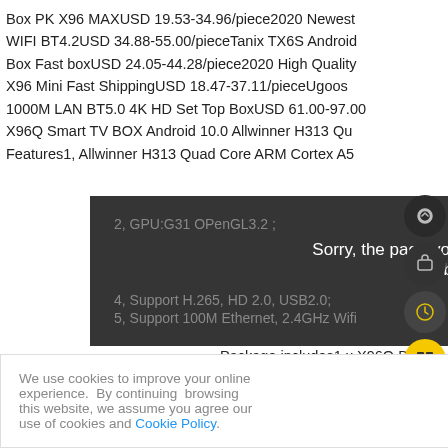Box PK X96 MAXUSD 19.53-34.96/piece2020 Newest WIFI BT4.2USD 34.88-55.00/pieceTanix TX6S Android Box Fast boxUSD 24.05-44.28/piece2020 High Quality X96 Mini Fast ShippingUSD 18.47-37.11/pieceUgoos 1000M LAN BT5.0 4K HD Set Top BoxUSD 61.00-97.00 X96Q Smart TV BOX Android 10.0 Allwinner H313 Qu Features1, Allwinner H313 Quad Core ARM Cortex A5
2, GPU:G31 OPenGL3.2 ;
Sorry, the page you are looking for could not be found.
4, Support H.265, HD 2.0, USB2.0;
5, Support 100M Ethernet, 2.4GHz Wifi
Package includes1 x X96Q Box
1 x Remote control
We use cookies to improve your online experience. By continuing browsing this website, we assume you agree our use of cookies and Cookie Policy.